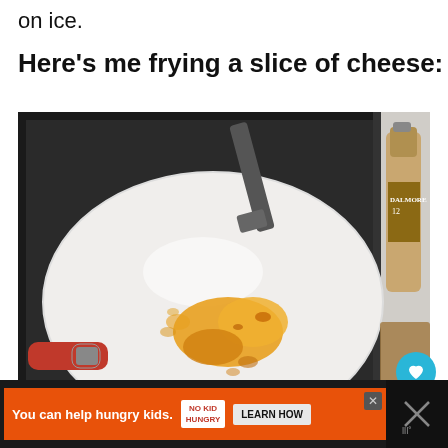on ice.
Here’s me frying a slice of cheese:
[Figure (photo): A white ceramic frying pan with a red handle on a dark stovetop. Inside the pan is a melted, partially burnt orange cheese residue spread across the white surface. A gray spatula is visible at the top of the pan. To the right is a bottle of Dalmore whisky and some other items on a counter.]
You can help hungry kids.  NO KID HUNGRY  LEARN HOW